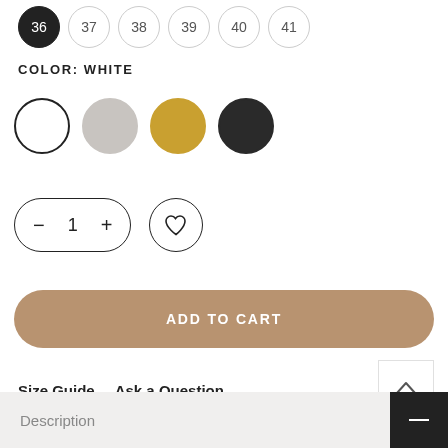Size options: 36 (selected), 37, 38, 39, 40, 41
COLOR: WHITE
[Figure (other): Four color swatches: white (selected/outlined), light gray, gold/yellow, black]
[Figure (other): Quantity stepper showing minus, 1, plus in a pill-shaped border control; heart/wishlist button circle to the right]
ADD TO CART
Size Guide    Ask a Question
[Figure (other): Chevron up arrow button (collapse/scroll up)]
Description